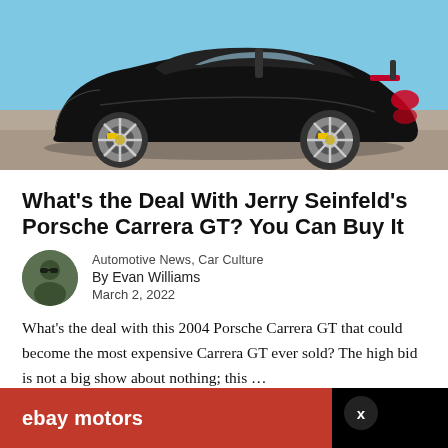[Figure (photo): Black Porsche Carrera GT convertible sports car photographed from the side-rear on a dry, open road with a blue sky background]
What’s the Deal With Jerry Seinfeld’s Porsche Carrera GT? You Can Buy It
Automotive News, Car Culture
By Evan Williams
March 2, 2022
What’s the deal with this 2004 Porsche Carrera GT that could become the most expensive Carrera GT ever sold? The high bid is not a big show about nothing; this …
[Figure (advertisement): eBay Motors advertisement banner in red and black at the bottom of the page with a close (x) button]